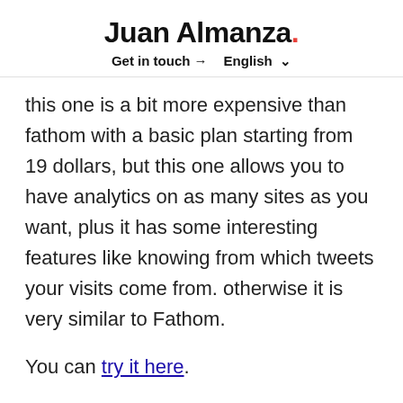Juan Almanza. Get in touch → English ∨
this one is a bit more expensive than fathom with a basic plan starting from 19 dollars, but this one allows you to have analytics on as many sites as you want, plus it has some interesting features like knowing from which tweets your visits come from. otherwise it is very similar to Fathom.
You can try it here.